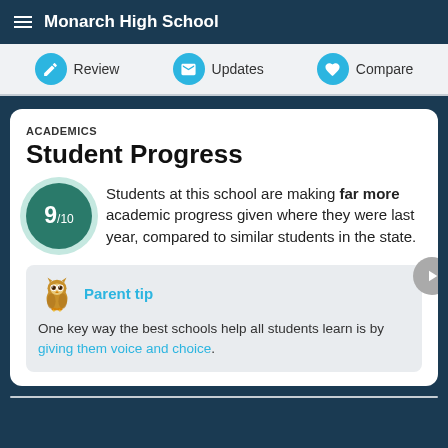Monarch High School
Review | Updates | Compare
ACADEMICS
Student Progress
Students at this school are making far more academic progress given where they were last year, compared to similar students in the state.
Parent tip
One key way the best schools help all students learn is by giving them voice and choice.